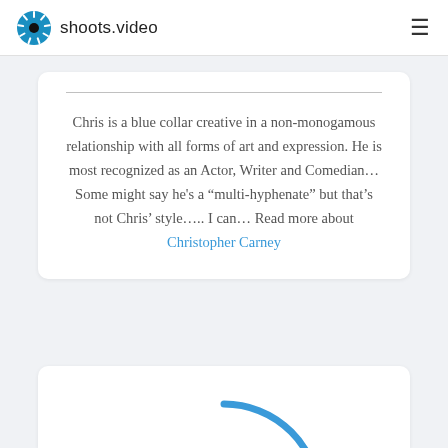shoots.video
Chris is a blue collar creative in a non-monogamous relationship with all forms of art and expression. He is most recognized as an Actor, Writer and Comedian… Some might say he's a “multi-hyphenate” but that’s not Chris’ style….. I can… Read more about Christopher Carney
[Figure (illustration): Partial blue circle outline representing an avatar/profile picture placeholder, cut off at bottom of page]